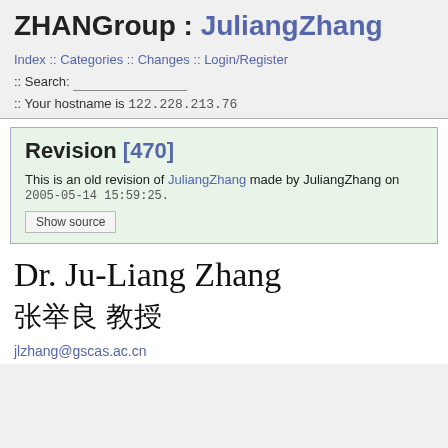ZHANGroup : JuliangZhang
Index :: Categories :: Changes :: Login/Register
:: Search:
:: Your hostname is 122.228.213.76
Revision [470]
This is an old revision of JuliangZhang made by JuliangZhang on 2005-05-14 15:59:25.
Show source
Dr. Ju-Liang Zhang
张 举 良 教 授
jlzhang@gscas.ac.cn